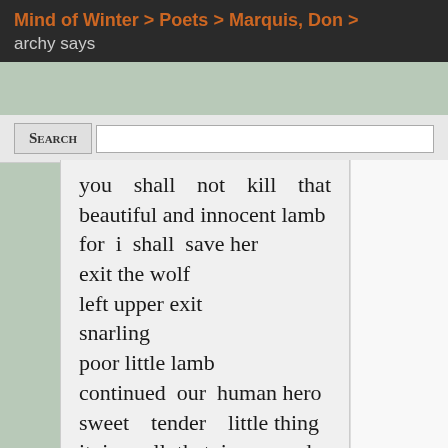Mind of Winter > Poets > Marquis, Don > archy says
Search
you shall not kill that beautiful and innocent lamb for i shall save her exit the wolf left upper exit snarling poor little lamb continued our human hero sweet tender little thing it is well that i appeared